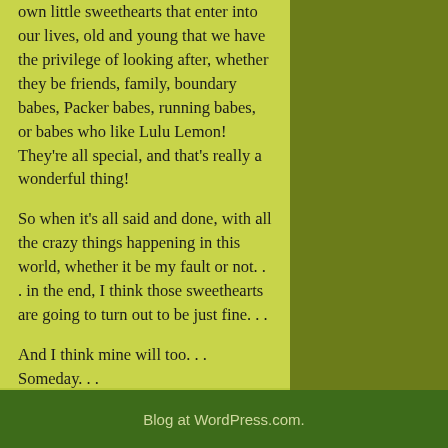own little sweethearts that enter into our lives, old and young that we have the privilege of looking after, whether they be friends, family, boundary babes, Packer babes, running babes, or babes who like Lulu Lemon! They're all special, and that's really a wonderful thing!
So when it's all said and done, with all the crazy things happening in this world, whether it be my fault or not... in the end, I think those sweethearts are going to turn out to be just fine...
And I think mine will too... Someday...
-Grizzly Chadams
Blog at WordPress.com.